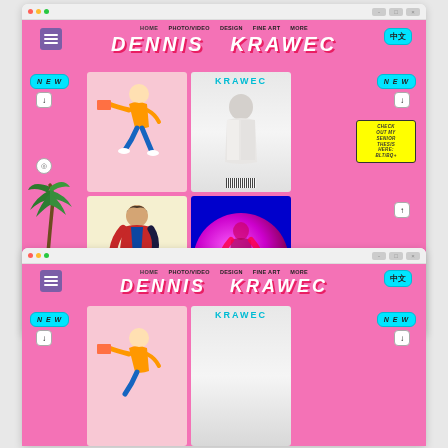[Figure (screenshot): Screenshot of Dennis Krawec portfolio website with pink background, navigation bar (HOME, PHOTO/VIDEO, DESIGN, FINE ART, MORE), large white italic title 'DENNIS KRAWEC', a 2x2 grid of portfolio images including illustrated figures, a magazine cover, and a neon photo, plus UI buttons (NEW, download arrows, ART DIRECTION, CHECK OUT MY SENIOR THESIS HERE: BLT/BQ+, Chinese character button 中文)]
[Figure (screenshot): Second screenshot (partial, bottom half) of the same Dennis Krawec portfolio website, showing the same pink layout with navigation, title 'DENNIS KRAWEC', NEW buttons, and partial view of the portfolio grid]